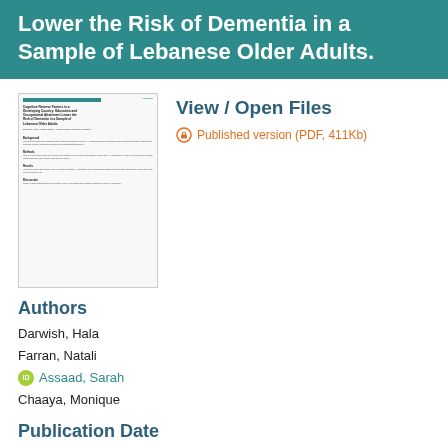Lower the Risk of Dementia in a Sample of Lebanese Older Adults.
[Figure (screenshot): Thumbnail preview of the published academic paper PDF showing title, authors, and abstract text]
View / Open Files
Published version (PDF, 411Kb)
Authors
Darwish, Hala
Farran, Natali
Assaad, Sarah
Chaaya, Monique
Publication Date